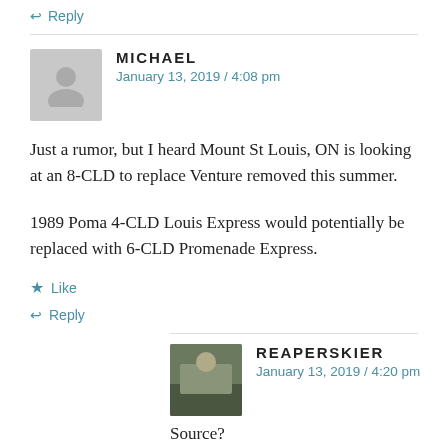↩ Reply
MICHAEL
January 13, 2019 / 4:08 pm
Just a rumor, but I heard Mount St Louis, ON is looking at an 8-CLD to replace Venture removed this summer.
1989 Poma 4-CLD Louis Express would potentially be replaced with 6-CLD Promenade Express.
★ Like
↩ Reply
REAPERSKIER
January 13, 2019 / 4:20 pm
Source?